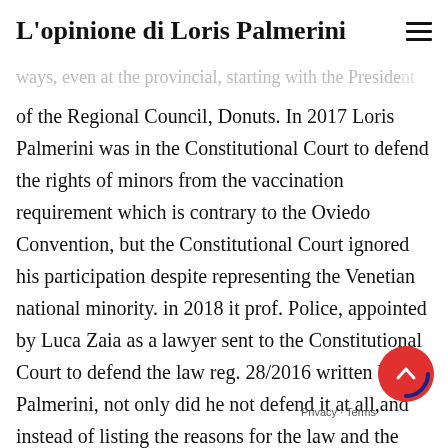L'opinione di Loris Palmerini
that the leaders of the League had tried in various ways, even at the provincial, starting with the President of the Regional Council, Donuts. In 2017 Loris Palmerini was in the Constitutional Court to defend the rights of minors from the vaccination requirement which is contrary to the Oviedo Convention, but the Constitutional Court ignored his participation despite representing the Venetian national minority. in 2018 it prof. Police, appointed by Luca Zaia as a lawyer sent to the Constitutional Court to defend the law reg. 28/2016 written by Palmerini, not only did he not defend it at all,and instead of listing the reasons for the law and the discrimination suffered by the Venetians, he declared that “this law is useless”. THE 24 April 2020, in pieno lockdown , with a three-h broadcast Loris denounced and demonstrated th Covid-19 pandemic was needed to carry out the